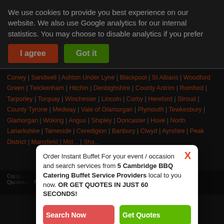We use cookies to provide you best experience on our website. We also use Google analytics for our internal statistics. You may choose to disable analytics if you prefer
I agree | Got it
Conwy | Sandwell | Ashton Under Lyne | Blackpool | St Albans | Woodford Green | Twickenham | Hitchin | Denbighshire | County Antrim | Romford | Tarporley | Torquay | Winchester | Lincoln | Corby | Hereford | Stroud | County Tyrone | Medway | Vale of Glamorgan | Plymouth | Tewkesbury | Glamorgan | Woking | Angus | Shipley | Doncaster | Hove | North Lanarkshire | Tameside | Ceredigion | Banbury | Clwyd | Ayrshire | Peak District | Mansfield | Mid... | Sha...
Order Instant Buffet For your event / occasion and search services from 5 Cambridge BBQ Catering Buffet Service Providers local to you now. OR GET QUOTES IN JUST 60 SECONDS!
Search Now | Get Quotes
5 Out of 5 by 2 Reviewers